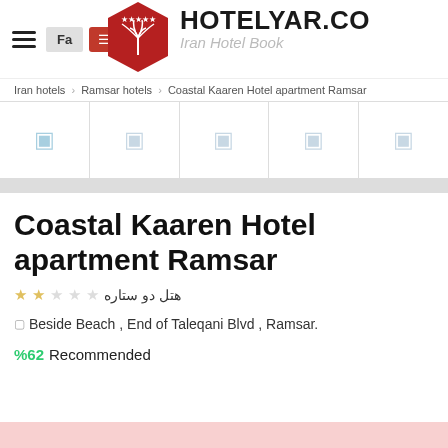HOTELYAR.COM — Iran Hotel Booking
Iran hotels › Ramsar hotels › Coastal Kaaren Hotel apartment Ramsar
[Figure (screenshot): Gallery image strip with 5 image thumbnail placeholders showing camera icons]
Coastal Kaaren Hotel apartment Ramsar
هتل دو ستاره (2-star hotel) with 2 stars highlighted
Beside Beach , End of Taleqani Blvd , Ramsar.
%62 Recommended